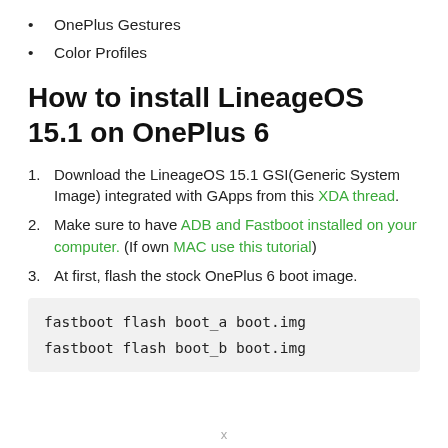OnePlus Gestures
Color Profiles
How to install LineageOS 15.1 on OnePlus 6
Download the LineageOS 15.1 GSI(Generic System Image) integrated with GApps from this XDA thread.
Make sure to have ADB and Fastboot installed on your computer. (If own MAC use this tutorial)
At first, flash the stock OnePlus 6 boot image.
fastboot flash boot_a boot.img
fastboot flash boot_b boot.img